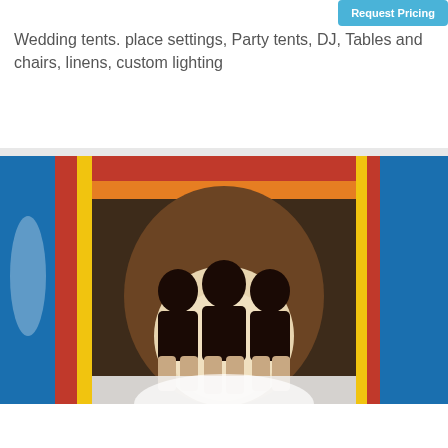Request Pricing
Wedding tents. place settings, Party tents, DJ, Tables and chairs, linens, custom lighting
[Figure (photo): Photo of three people sitting inside a colorful inflatable bounce house / water slide with red, blue, yellow panels]
Little Tommy's Party Rentals
61 miles from Hadlyme, CT
Request Pricing